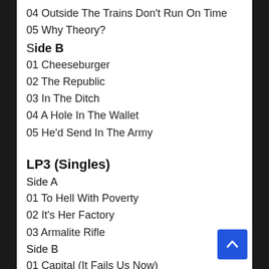04 Outside The Trains Don't Run On Time
05 Why Theory?
Side B
01 Cheeseburger
02 The Republic
03 In The Ditch
04 A Hole In The Wallet
05 He'd Send In The Army
LP3 (Singles)
Side A
01 To Hell With Poverty
02 It's Her Factory
03 Armalite Rifle
Side B
01 Capital (It Fails Us Now)
02 History's Bunk!